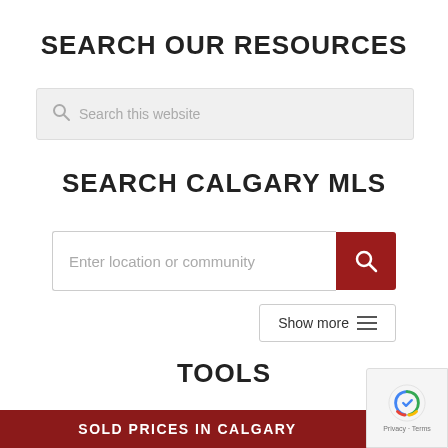SEARCH OUR RESOURCES
[Figure (screenshot): Search input box with gray background and magnifying glass icon, placeholder text: Search this website]
SEARCH CALGARY MLS
[Figure (screenshot): MLS search input with placeholder 'Enter location or community' and a dark red search button with magnifying glass icon]
[Figure (screenshot): Show more button with hamburger icon]
TOOLS
[Figure (screenshot): Dark red bar with white bold text 'SOLD PRICES IN CALGARY']
[Figure (screenshot): reCAPTCHA badge in bottom right corner showing privacy and terms]